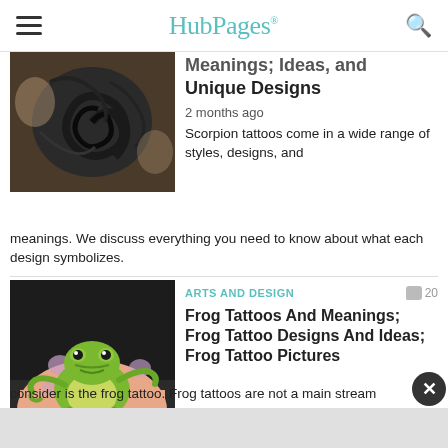HubPages
[Figure (photo): Tribal scorpion tattoo on shoulder - black and grey swirling design]
Meanings; Ideas, and Unique Designs
2 months ago
Scorpion tattoos come in a wide range of styles, designs, and meanings. We discuss everything you need to know about what each design symbolizes.
ARTS AND DESIGN
[Figure (photo): Frog tattoo on foot - green frog with purple spots on surrounding skin]
Frog Tattoos And Meanings; Frog Tattoo Designs And Ideas; Frog Tattoo Pictures
9 years ago
One tattoo that you may want to consider is the frog tattoo. Frog tattoos are not a main stream